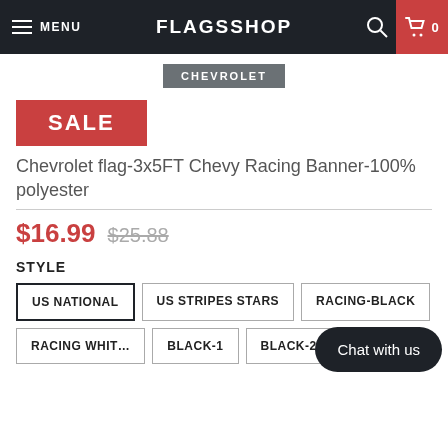MENU | FLAGSSHOP | 0
[Figure (logo): Chevrolet badge/logo in grey box]
SALE
Chevrolet flag-3x5FT Chevy Racing Banner-100% polyester
$16.99 $25.88
STYLE
US NATIONAL
US STRIPES STARS
RACING-BLACK
RACING WHITE
BLACK-1
BLACK-2
BLACK-3
Chat with us